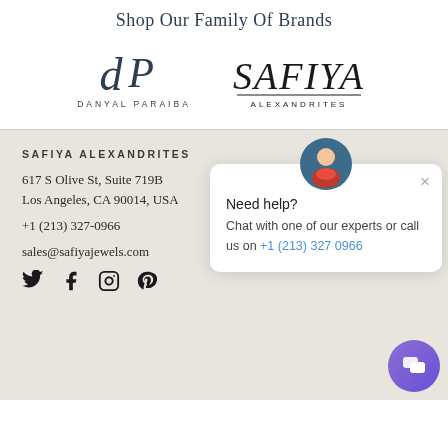Shop Our Family Of Brands
[Figure (logo): Danyal Paraiba brand logo with stylized dP monogram and text DANYAL PARAIBA]
[Figure (logo): Safiya Alexandrites brand logo with stylized script SAFIYA and ALEXANDRITES text below]
SAFIYA ALEXANDRITES
617 S Olive St, Suite 719B
Los Angeles, CA 90014, USA
+1 (213) 327-0966
sales@safiyajewels.com
[Figure (screenshot): Chat widget popup with avatar icon, close button (×), text 'Need help? Chat with one of our experts or call us on +1 (213) 327 0966' with phone number in blue, and a purple circular chat button in bottom right]
[Figure (other): Social media icons: Twitter (bird), Facebook (f), Instagram (camera), Pinterest (P)]